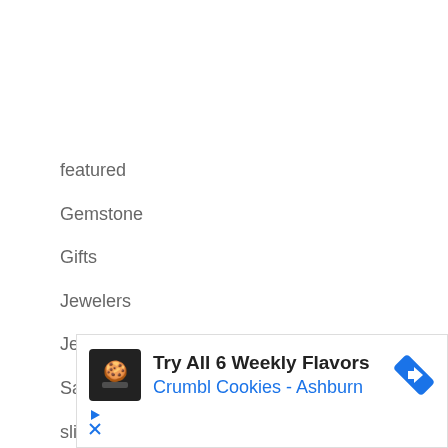featured
Gemstone
Gifts
Jewelers
Jewelry Cleaner
Sapphire
slideshow
[Figure (screenshot): Advertisement for Crumbl Cookies - Ashburn. Headline: Try All 6 Weekly Flavors. Subline: Crumbl Cookies - Ashburn. Features a cookie icon, blue navigation arrow icon, and play/close ad controls.]